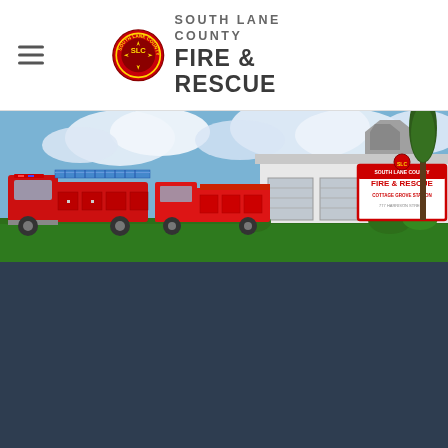South Lane County Fire & Rescue
[Figure (photo): Exterior photo of South Lane County Fire & Rescue Cottage Grove Station showing fire trucks parked in front of the white station building with a red and white sign reading 'South Lane County Fire & Rescue, Cottage Grove Station']